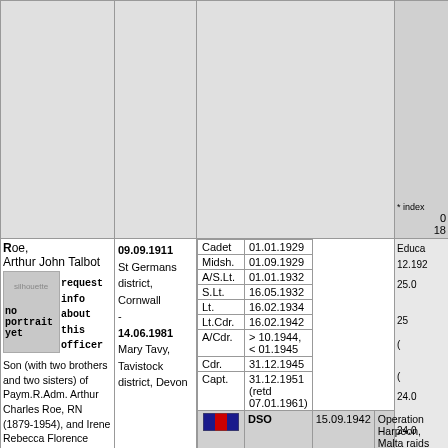| (empty top row cells) | (empty) | (empty) | * index
0
18 |
| Roe, Arthur John Talbot
[portrait placeholder]
Son (with two brothers and two sisters) of Paym.R.Adm. Arthur Charles Roe, RN (1879-1954), and Irene Rebecca Florence Toms (1884-1969).
Brother of Capt. Charles Richard Kelsey Roe, RN, and of Lt.Cdr. Peter Frank Bassett Roe, RN.
Married (22.05.1936, Greenwich district, London) Katherine Frederica Dayas (16.08.1914 - 05.1996), daughter of Capt. Charles Dayas, Merchant Navy, and Edith Bullmore; one son. | 09.09.1911
St Germans district, Cornwall
-
14.06.1981
Mary Tavy, Tavistock district, Devon | Cadet 01.01.1929
Midsh. 01.09.1929
A/S.Lt. 01.01.1932
S.Lt. 16.05.1932
Lt. 16.02.1934
Lt.Cdr. 16.02.1942
A/Cdr. > 10.1944, < 01.1945
Cdr. 31.12.1945
Capt. 31.12.1951 (retd 07.01.1961)
DSO 15.09.1942 Operation Harpoon, Malta raids [investiture 21.11.1944]
OBE 14.09.1943 services North African campaign 10.1942-05.1943 [investiture 21.11.1944]
MID 20.04.1943 Operation Torch
MID 27.03.1945 Operation Dragoon | Educa 12.192
25.0
25
(
(
24.0
24.0 |
Roe, Arthur John Talbot
Son (with two brothers and two sisters) of Paym.R.Adm. Arthur Charles Roe, RN (1879-1954), and Irene Rebecca Florence Toms (1884-1969). Brother of Capt. Charles Richard Kelsey Roe, RN, and of Lt.Cdr. Peter Frank Bassett Roe, RN. Married (22.05.1936, Greenwich district, London) Katherine Frederica Dayas (16.08.1914 - 05.1996), daughter of Capt. Charles Dayas, Merchant Navy, and Edith Bullmore; one son.
09.09.1911
St Germans district, Cornwall
-
14.06.1981
Mary Tavy, Tavistock district, Devon